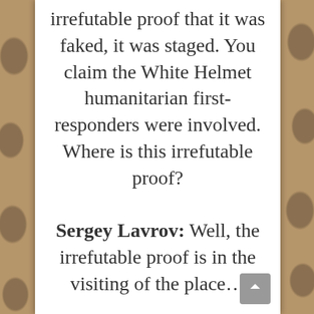irrefutable proof that it was faked, it was staged. You claim the White Helmet humanitarian first-responders were involved. Where is this irrefutable proof?
Sergey Lavrov: Well, the irrefutable proof is in the visiting of the place…
Question: No, no, where is